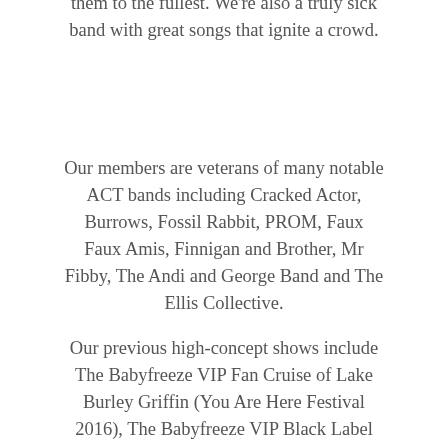them to the fullest. We're also a truly sick band with great songs that ignite a crowd.
Our members are veterans of many notable ACT bands including Cracked Actor, Burrows, Fossil Rabbit, PROM, Faux Faux Amis, Finnigan and Brother, Mr Fibby, The Andi and George Band and The Ellis Collective.
Our previous high-concept shows include The Babyfreeze VIP Fan Cruise of Lake Burley Griffin (You Are Here Festival 2016), The Babyfreeze VIP Black Label Champagne Breakfast (Art Not Apart 2017) and The